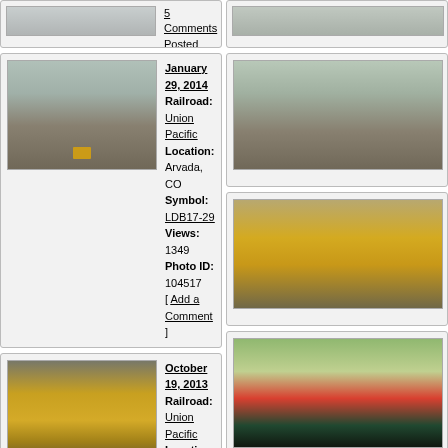[Figure (photo): Partial top card showing a snowy railroad track scene, left column]
[Figure (photo): Partial top card showing a railroad scene, right column]
[Figure (photo): Railroad photo showing train approaching through snowy trees - Arvada CO January 2014]
January 29, 2014
Railroad: Union Pacific
Location: Arvada, CO
Symbol: LDB17-29
Views: 1349
Photo ID: 104517
[ Add a Comment ]
[Figure (photo): Partial railroad card, right column, snowy tree scene]
[Figure (photo): Railroad yard photo showing multiple Union Pacific locomotives - Denver CO October 2013]
October 19, 2013
Railroad: Union Pacific
Location: Denver, CO
Views: 1556
Photo ID: 104500
[ Add a Comment ]
[Figure (photo): Partial railroad card right column showing yellow Union Pacific locomotive close-up]
[Figure (photo): Union Pacific locomotive 1364 photo - Arvada CO September 2011]
September 11, 2011
Railroad: Union Pacific
Location: Arvada, CO
Symbol: MNYGJ-11
Views: 1827
Photo ID: 103906
[ Add a Comment ]
[Figure (photo): Partial railroad card right column showing locomotive in field]